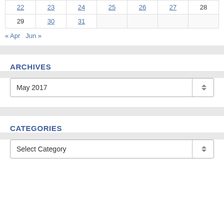| 22 | 23 | 24 | 25 | 26 | 27 | 28 |
| 29 | 30 | 31 |  |  |  |  |
« Apr   Jun »
ARCHIVES
May 2017
CATEGORIES
Select Category